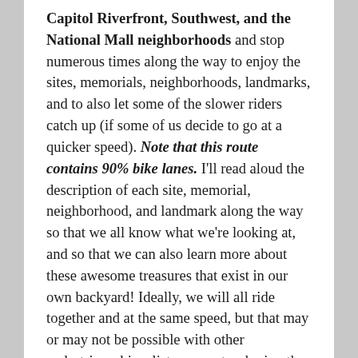Capitol Riverfront, Southwest, and the National Mall neighborhoods and stop numerous times along the way to enjoy the sites, memorials, neighborhoods, landmarks, and to also let some of the slower riders catch up (if some of us decide to go at a quicker speed). Note that this route contains 90% bike lanes. I'll read aloud the description of each site, memorial, neighborhood, and landmark along the way so that we all know what we're looking at, and so that we can also learn more about these awesome treasures that exist in our own backyard! Ideally, we will all ride together and at the same speed, but that may or may not be possible with other pedestrians, bicyclists, cars, etc. sharing the same paths, but let's do our best please. Due